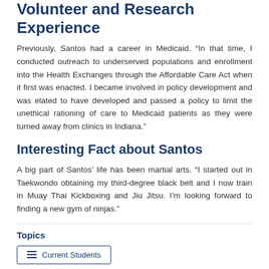Volunteer and Research Experience
Previously, Santos had a career in Medicaid. “In that time, I conducted outreach to underserved populations and enrollment into the Health Exchanges through the Affordable Care Act when it first was enacted. I became involved in policy development and was elated to have developed and passed a policy to limit the unethical rationing of care to Medicaid patients as they were turned away from clinics in Indiana.”
Interesting Fact about Santos
A big part of Santos’ life has been martial arts. “I started out in Taekwondo obtaining my third-degree black belt and I now train in Muay Thai Kickboxing and Jiu Jitsu. I’m looking forward to finding a new gym of ninjas.”
Topics
Current Students
About the College